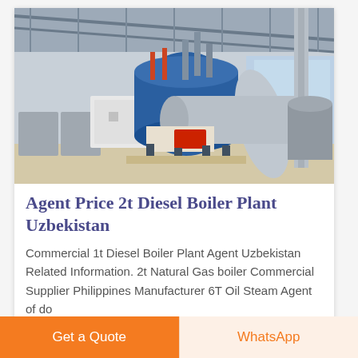[Figure (photo): Industrial boiler plant showing large blue cylindrical diesel/gas boilers in a factory warehouse setting with metal roof trusses, piping, and equipment.]
Agent Price 2t Diesel Boiler Plant Uzbekistan
Commercial 1t Diesel Boiler Plant Agent Uzbekistan Related Information. 2t Natural Gas boiler Commercial Supplier Philippines Manufacturer 6T Oil Steam Agent of do
Get a Quote
WhatsApp